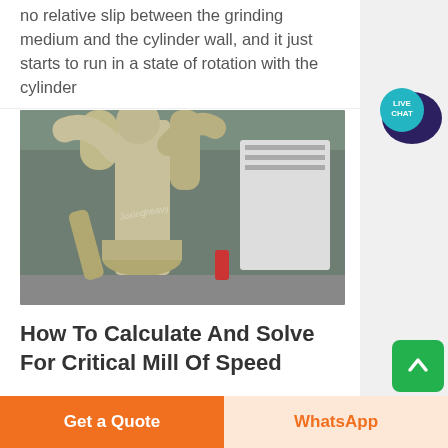no relative slip between the grinding medium and the cylinder wall, and it just starts to run in a state of rotation with the cylinder
[Figure (photo): Industrial grinding mill equipment — large vertical mill with beige/tan cylindrical body, pipes and ducts, in a factory setting]
How To Calculate And Solve For Critical Mill Of Speed
Get a Quote
WhatsApp